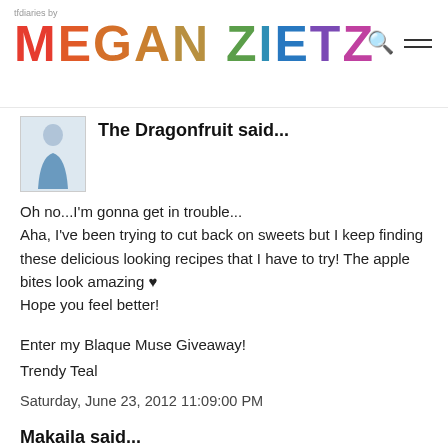tfdiaries by MEGAN ZIETZ
The Dragonfruit said...
Oh no...I'm gonna get in trouble... Aha, I've been trying to cut back on sweets but I keep finding these delicious looking recipes that I have to try! The apple bites look amazing ♥ Hope you feel better!
Enter my Blaque Muse Giveaway!
Trendy Teal
Saturday, June 23, 2012 11:09:00 PM
Makaila said...